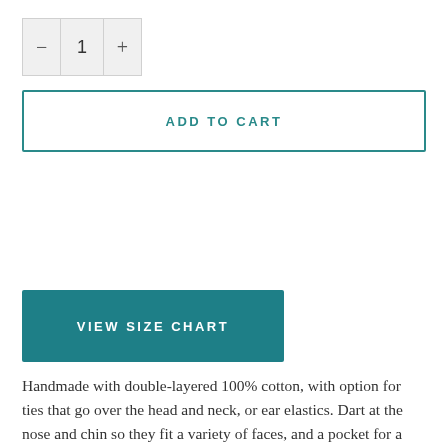[Figure (other): Quantity stepper widget showing minus button, value 1, and plus button in a grey bordered control]
ADD TO CART
VIEW SIZE CHART
Handmade with double-layered 100% cotton, with option for ties that go over the head and neck, or ear elastics. Dart at the nose and chin so they fit a variety of faces, and a pocket for a filter (1 comes included). Ties and elastics